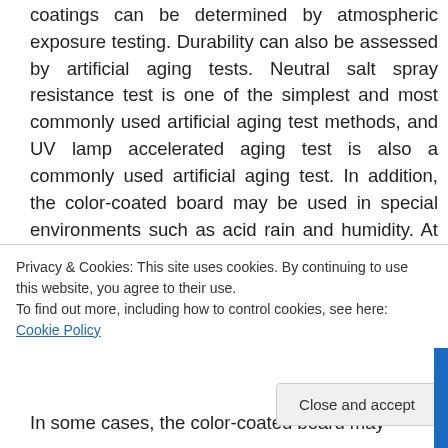coatings can be determined by atmospheric exposure testing. Durability can also be assessed by artificial aging tests. Neutral salt spray resistance test is one of the simplest and most commonly used artificial aging test methods, and UV lamp accelerated aging test is also a commonly used artificial aging test. In addition, the color-coated board may be used in special environments such as acid rain and humidity. At this time, the corresponding artificial aging test should be selected for evaluation. It should be noted that artificial
Privacy & Cookies: This site uses cookies. By continuing to use this website, you agree to their use. To find out more, including how to control cookies, see here: Cookie Policy
In some cases, the color-coated board may